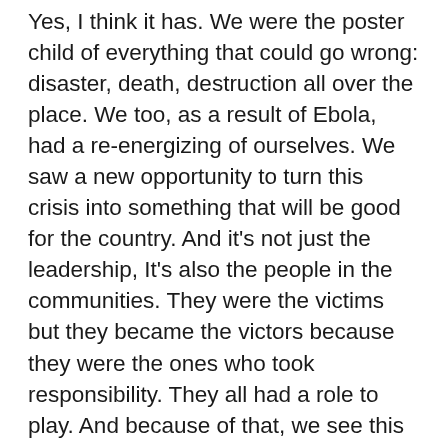Yes, I think it has. We were the poster child of everything that could go wrong: disaster, death, destruction all over the place. We too, as a result of Ebola, had a re-energizing of ourselves. We saw a new opportunity to turn this crisis into something that will be good for the country. And it's not just the leadership, It's also the people in the communities. They were the victims but they became the victors because they were the ones who took responsibility. They all had a role to play. And because of that, we see this as a new resurgence. Our success, we think, has been heralded. If you look at the predictions that we faced in October, I mean, by the end of January there will be 1.4 million people dead. That was a wake-up call for us, a call to action. Our people rose to that.